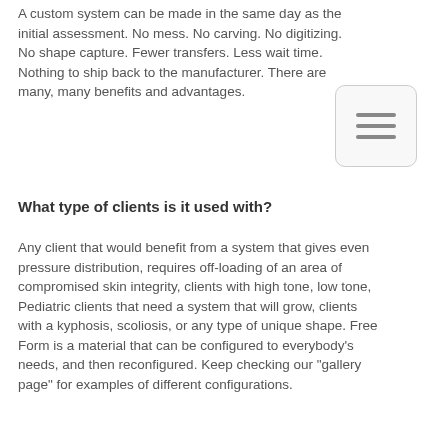A custom system can be made in the same day as the initial assessment. No mess. No carving. No digitizing. No shape capture. Fewer transfers. Less wait time. Nothing to ship back to the manufacturer. There are many, many benefits and advantages.
[Figure (other): Hamburger menu icon — three horizontal lines inside a rounded rectangle]
What type of clients is it used with?
Any client that would benefit from a system that gives even pressure distribution, requires off-loading of an area of compromised skin integrity, clients with high tone, low tone, Pediatric clients that need a system that will grow, clients with a kyphosis, scoliosis, or any type of unique shape. Free Form is a material that can be configured to everybody's needs, and then reconfigured. Keep checking our "gallery page" for examples of different configurations.